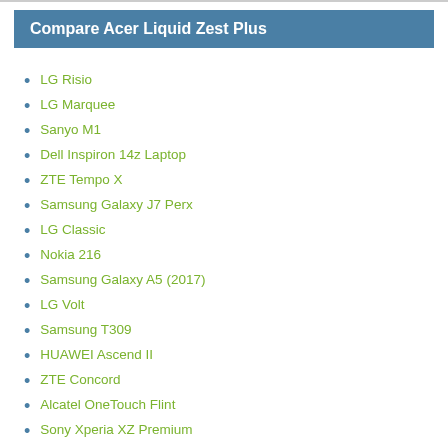Compare Acer Liquid Zest Plus
LG Risio
LG Marquee
Sanyo M1
Dell Inspiron 14z Laptop
ZTE Tempo X
Samsung Galaxy J7 Perx
LG Classic
Nokia 216
Samsung Galaxy A5 (2017)
LG Volt
Samsung T309
HUAWEI Ascend II
ZTE Concord
Alcatel OneTouch Flint
Sony Xperia XZ Premium
Samsung Galaxy View
LG G4
Kyocera Verve